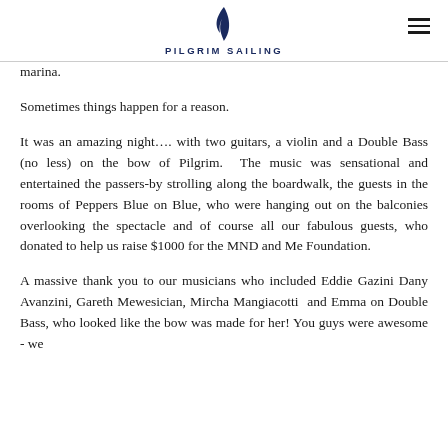PILGRIM SAILING
marina.
Sometimes things happen for a reason.
It was an amazing night…. with two guitars, a violin and a Double Bass (no less) on the bow of Pilgrim. The music was sensational and entertained the passers-by strolling along the boardwalk, the guests in the rooms of Peppers Blue on Blue, who were hanging out on the balconies overlooking the spectacle and of course all our fabulous guests, who donated to help us raise $1000 for the MND and Me Foundation.
A massive thank you to our musicians who included Eddie Gazini Dany Avanzini, Gareth Mewesician, Mircha Mangiacotti and Emma on Double Bass, who looked like the bow was made for her! You guys were awesome - we